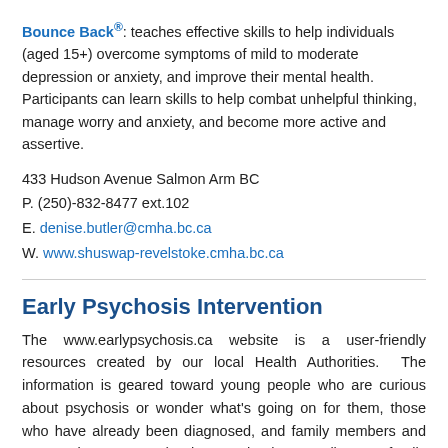Bounce Back®: teaches effective skills to help individuals (aged 15+) overcome symptoms of mild to moderate depression or anxiety, and improve their mental health. Participants can learn skills to help combat unhelpful thinking, manage worry and anxiety, and become more active and assertive.
433 Hudson Avenue Salmon Arm BC
P. (250)-832-8477 ext.102
E. denise.butler@cmha.bc.ca
W. www.shuswap-revelstoke.cmha.bc.ca
Early Psychosis Intervention
The www.earlypsychosis.ca website is a user-friendly resources created by our local Health Authorities. The information is geared toward young people who are curious about psychosis or wonder what's going on for them, those who have already been diagnosed, and family members and community partners (such as school counsellors or family physicians) who are supporting others through psychosis.